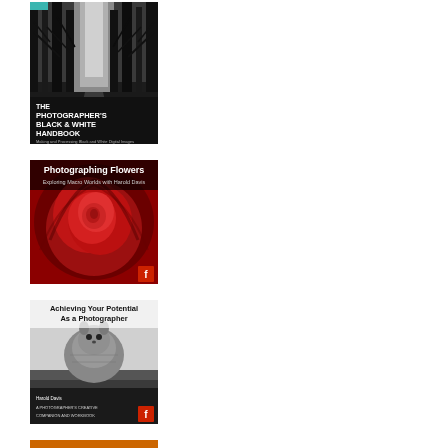[Figure (photo): Book cover: The Photographer's Black & White Handbook - black and white photo of bare winter trees with a pale path through them]
[Figure (photo): Book cover: Photographing Flowers - Exploring Macro Worlds with Harold Davis - close-up macro photo of a red rose]
[Figure (photo): Book cover: Achieving Your Potential As a Photographer - A Photographer's Creative Companion and Workbook by Harold Davis - black and white photo of a small animal (chipmunk or squirrel)]
[Figure (photo): Book cover: partially visible at bottom of page - appears to show a warm-toned nature photograph]